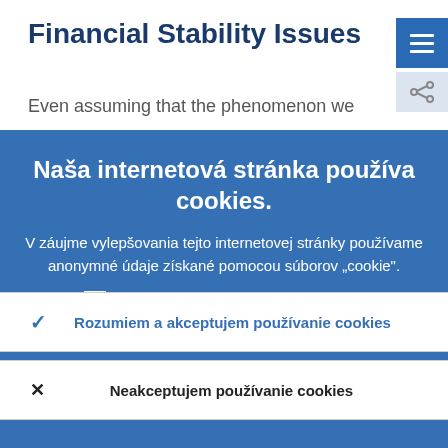Financial Stability Issues
Even assuming that the phenomenon we
[Figure (screenshot): Cookie consent overlay on a financial website. Contains heading 'Naša internetová stránka používa cookies.', explanatory text in Slovak, a link 'Viac informácií o používaní cookies', an accept button 'Rozumiem a akceptujem používanie cookies', and a reject button 'Neakceptujem používanie cookies'.]